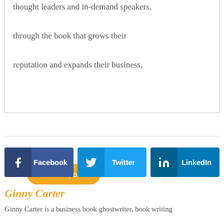thought leaders and in-demand speakers, through the book that grows their reputation and expands their business.
View all posts
[Figure (other): Social share buttons: Facebook, Twitter, LinkedIn]
Ginny Carter
Ginny Carter is a business book ghostwriter, book writing